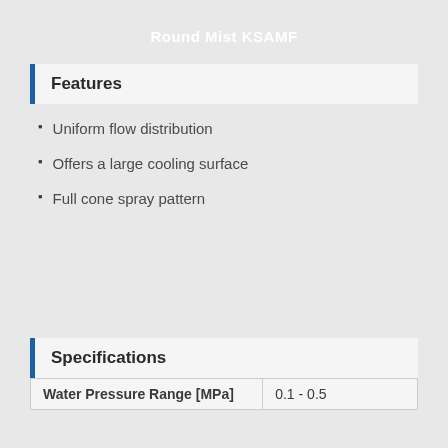Round Mist KSAMF
Features
Uniform flow distribution
Offers a large cooling surface
Full cone spray pattern
Specifications
| Water Pressure Range [MPa] | 0.1 - 0.5 |
| --- | --- |